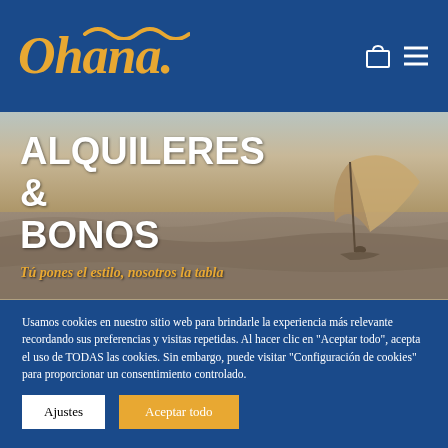[Figure (logo): Ohana. logo in gold/yellow italic text on dark blue background with wave decoration, shopping bag and hamburger menu icons]
[Figure (photo): Sepia-toned windsurfer on ocean waves with large sail, serving as hero banner background]
ALQUILERES & BONOS
Tú pones el estilo, nosotros la tabla
Usamos cookies en nuestro sitio web para brindarle la experiencia más relevante recordando sus preferencias y visitas repetidas. Al hacer clic en "Aceptar todo", acepta el uso de TODAS las cookies. Sin embargo, puede visitar "Configuración de cookies" para proporcionar un consentimiento controlado.
Ajustes
Aceptar todo